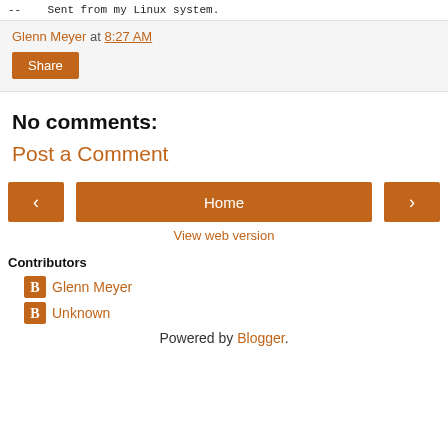--    Sent from my Linux system.
Glenn Meyer at 8:27 AM
Share
No comments:
Post a Comment
[Figure (other): Navigation buttons: left arrow, Home, right arrow]
View web version
Contributors
Glenn Meyer
Unknown
Powered by Blogger.